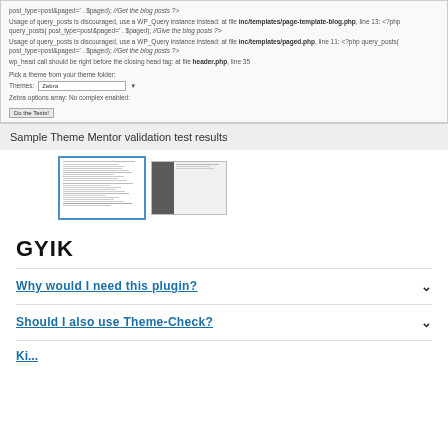[Figure (screenshot): Screenshot of Theme Mentor validation tool showing PHP warnings about query_posts usage, wp_head call warning, theme picker UI with Zebra theme selected, and a Do the Tests button]
Sample Theme Mentor validation test results
[Figure (screenshot): Two thumbnail images showing Theme Mentor results pages]
GYIK
Why would I need this plugin?
Should I also use Theme-Check?
Ki...